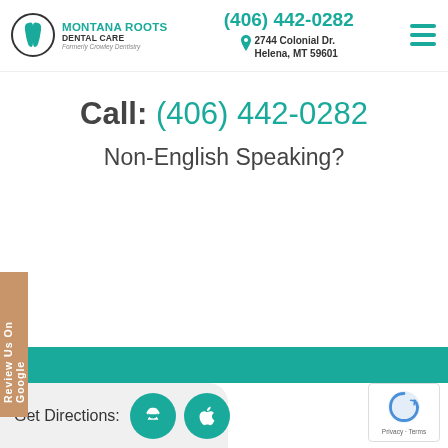[Figure (logo): Montana Roots Dental Care logo with circle containing tooth icon and text]
(406) 442-0282
2744 Colonial Dr. Helena, MT 59601
Call: (406) 442-0282
Non-English Speaking?
Review Us On Google
Get Directions:
Privacy · Terms